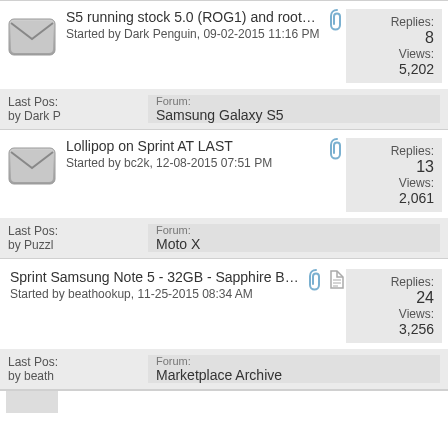S5 running stock 5.0 (ROG1) and rooted, but not
Started by Dark Penguin, 09-02-2015 11:16 PM
Replies: 8
Views: 5,202
Last Post by Dark P
Forum: Samsung Galaxy S5
Lollipop on Sprint AT LAST
Started by bc2k, 12-08-2015 07:51 PM
Replies: 13
Views: 2,061
Last Post by Puzzl
Forum: Moto X
Sprint Samsung Note 5 - 32GB - Sapphire Black -
Started by beathookup, 11-25-2015 08:34 AM
Replies: 24
Views: 3,256
Last Post by beath
Forum: Marketplace Archive